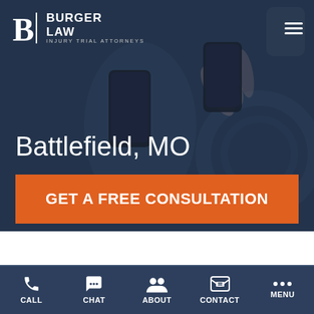[Figure (screenshot): Website screenshot of Burger Law Injury Trial Attorneys showing a hero section with a dark blue overlay over a photo of someone using a phone while driving, featuring the city name Battlefield MO, a CTA button, and a mobile bottom navigation bar.]
Burger Law | Injury Trial Attorneys
Battlefield, MO
GET A FREE CONSULTATION
Or call (314) 500-HURT
CALL  CHAT  ABOUT  CONTACT  MENU